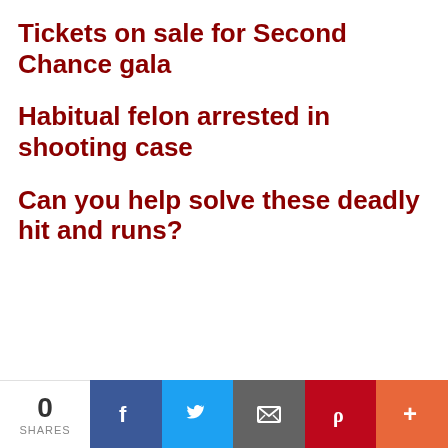Tickets on sale for Second Chance gala
Habitual felon arrested in shooting case
Can you help solve these deadly hit and runs?
0 SHARES | Facebook | Twitter | Email | Pinterest | More